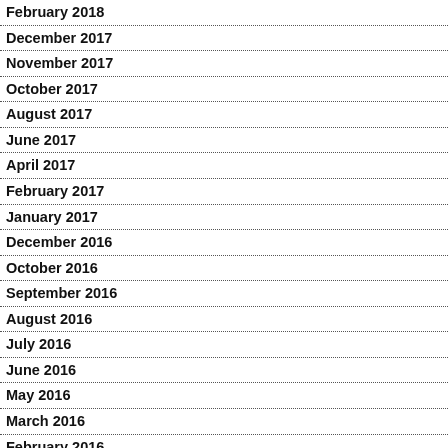February 2018
December 2017
November 2017
October 2017
August 2017
June 2017
April 2017
February 2017
January 2017
December 2016
October 2016
September 2016
August 2016
July 2016
June 2016
May 2016
March 2016
February 2016
January 2016